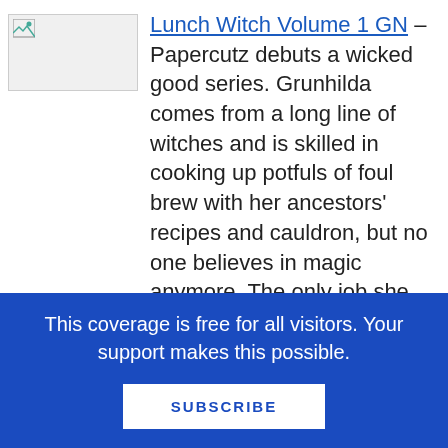[Figure (photo): Broken/placeholder image icon for book cover of Lunch Witch Volume 1 GN]
Lunch Witch Volume 1 GN – Papercutz debuts a wicked good series. Grunhilda comes from a long line of witches and is skilled in cooking up potfuls of foul brew with her ancestors' recipes and cauldron, but no one believes in magic anymore. The only job she can find that would suit her talents is lunch lady. Grunhilda delights in scaring the kids until she meets Madison, an outsider like her who doesn't fit in. Madison needs help at school and at home, but helping people goes against everything Grunhilda believes as a witch. Will Grunhilda warm up to the
This coverage is free for all visitors. Your support makes this possible.
SUBSCRIBE